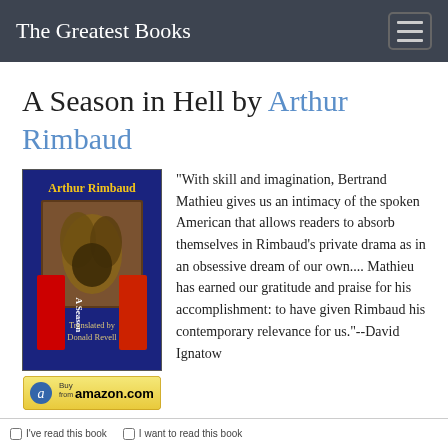The Greatest Books
A Season in Hell by Arthur Rimbaud
[Figure (illustration): Book cover of 'A Season in Hell' by Arthur Rimbaud, translated by Donald Revell. Dark blue cover with red and yellow text and a central illustration of a figure amid foliage. Below is a 'Buy from amazon.com' button.]
"With skill and imagination, Bertrand Mathieu gives us an intimacy of the spoken American that allows readers to absorb themselves in Rimbaud's private drama as in an obsessive dream of our own.... Mathieu has earned our gratitude and praise for his accomplishment: to have given Rimbaud his contemporary relevance for us."--David Ignatow
- Google